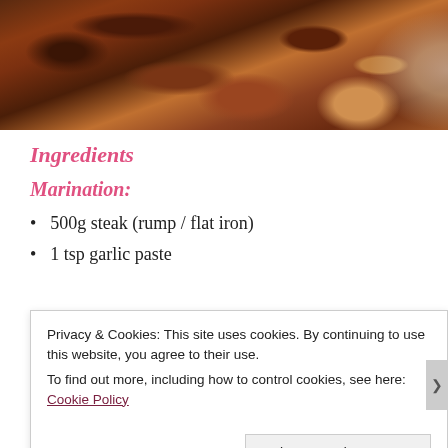[Figure (photo): Close-up photo of glazed/sauced steak strips with a piece of flatbread visible on the right side]
Ingredients
Marination:
500g steak (rump / flat iron)
1 tsp garlic paste
Privacy & Cookies: This site uses cookies. By continuing to use this website, you agree to their use.
To find out more, including how to control cookies, see here: Cookie Policy
Close and accept